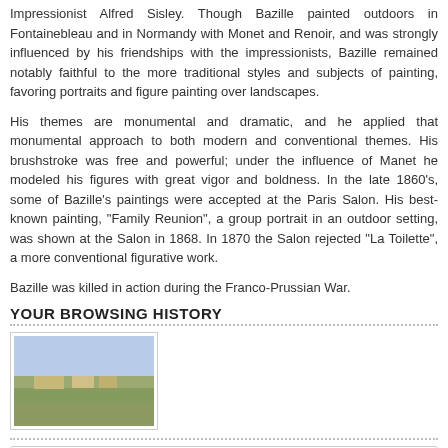Impressionist Alfred Sisley. Though Bazille painted outdoors in Fontainebleau and in Normandy with Monet and Renoir, and was strongly influenced by his friendships with the impressionists, Bazille remained notably faithful to the more traditional styles and subjects of painting, favoring portraits and figure painting over landscapes.
His themes are monumental and dramatic, and he applied that monumental approach to both modern and conventional themes. His brushstroke was free and powerful; under the influence of Manet he modeled his figures with great vigor and boldness. In the late 1860's, some of Bazille's paintings were accepted at the Paris Salon. His best-known painting, "Family Reunion", a group portrait in an outdoor setting, was shown at the Salon in 1868. In 1870 the Salon rejected "La Toilette", a more conventional figurative work.
Bazille was killed in action during the Franco-Prussian War.
YOUR BROWSING HISTORY
[Figure (photo): Small thumbnail image of a landscape painting showing buildings and fields with muted green and brown tones.]
Popular Categories
Claude Monet Paintings (1,822)
Vincent van Gogh Paintings (950)